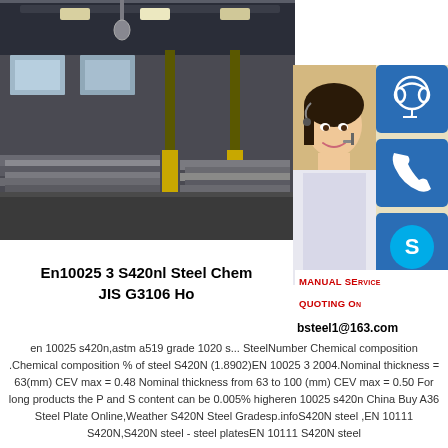[Figure (photo): Steel warehouse/factory interior showing steel plates stacked on the floor with yellow support pillars and industrial crane overhead.]
[Figure (photo): Young woman wearing a headset microphone smiling, with blue icon buttons for customer service, phone, and Skype overlaid on the right side. Text overlay reads: MANUAL SERVICE, QUOTING ON, bsteel1@163.com]
En10025 3 S420nl Steel Chem... JIS G3106 Ho...
en 10025 s420n,astm a519 grade 1020 s... SteelNumber Chemical composition .Chemical composition % of steel S420N (1.8902)EN 10025 3 2004.Nominal thickness = 63(mm) CEV max = 0.48 Nominal thickness from 63 to 100 (mm) CEV max = 0.50 For long products the P and S content can be 0.005% higheren 10025 s420n China Buy A36 Steel Plate Online,Weather S420N Steel Gradesp.infoS420N steel ,EN 10111 S420N,S420N steel - steel platesEN 10111 S420N steel